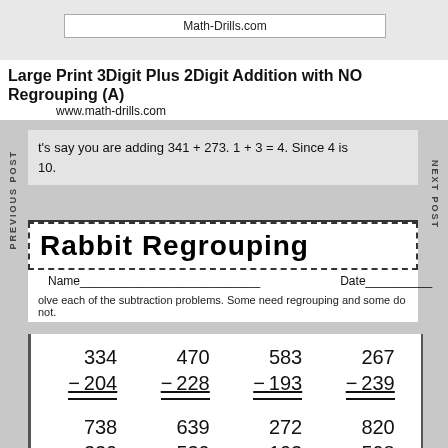Math-Drills.com
Large Print 3Digit Plus 2Digit Addition with NO Regrouping (A)
www.math-drills.com
Let's say you are adding 341 + 273. 1 + 3 = 4. Since 4 is less than 10.
Rabbit Regrouping
Name___________________________ Date__________
Solve each of the subtraction problems. Some need regrouping and some do not.
| 334 | 470 | 583 | 267 |
| − 204 | − 228 | − 193 | − 239 |
| 738 | 639 | 272 | 820 |
| 330 | 530 | 103 | 508 |